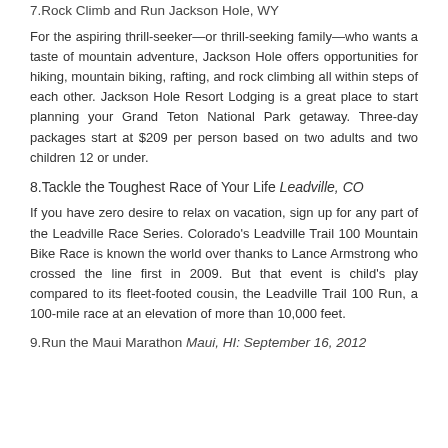7.Rock Climb and Run Jackson Hole, WY
For the aspiring thrill-seeker—or thrill-seeking family—who wants a taste of mountain adventure, Jackson Hole offers opportunities for hiking, mountain biking, rafting, and rock climbing all within steps of each other. Jackson Hole Resort Lodging is a great place to start planning your Grand Teton National Park getaway. Three-day packages start at $209 per person based on two adults and two children 12 or under.
8.Tackle the Toughest Race of Your Life Leadville, CO
If you have zero desire to relax on vacation, sign up for any part of the Leadville Race Series. Colorado's Leadville Trail 100 Mountain Bike Race is known the world over thanks to Lance Armstrong who crossed the line first in 2009. But that event is child's play compared to its fleet-footed cousin, the Leadville Trail 100 Run, a 100-mile race at an elevation of more than 10,000 feet.
9.Run the Maui Marathon Maui, HI: September 16, 2012